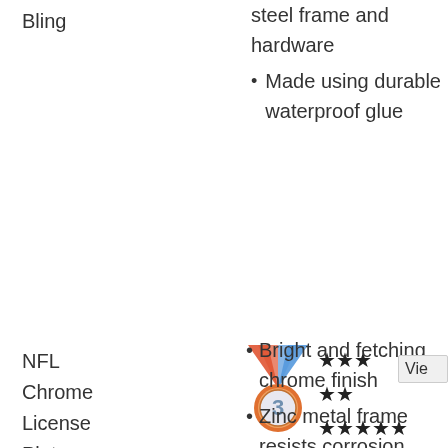Bling
steel frame and hardware
Made using durable waterproof glue
NFL Chrome License Plate Frames
[Figure (illustration): Medal with number 3, ribbons in blue and orange/red, with star ratings: 3 stars, 2 stars, 5 stars]
[Figure (photo): Baltimore Ravens license plate frame thumbnail]
Bright and fetching chrome finish
Zinc metal frame resists corrosion
View